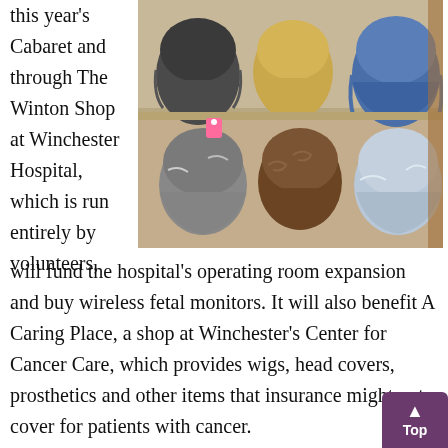this year's Cabaret and through The Winton Shop at Winchester Hospital, which is run entirely by volunteers,
[Figure (photo): A shelf display showing six wig mannequin heads with various colored wigs including dark gray, light blonde, blue, salt-and-pepper, brown curly, and silver-white styles, in what appears to be a shop setting.]
will fund the hospital's operating room expansion and buy wireless fetal monitors. It will also benefit A Caring Place, a shop at Winchester's Center for Cancer Care, which provides wigs, head covers, prosthetics and other items that insurance might not cover for patients with cancer.